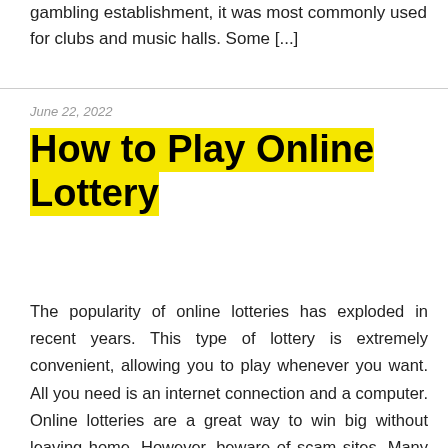gambling establishment, it was most commonly used for clubs and music halls. Some [...]
June 22, 2022
How to Play Online Lottery
The popularity of online lotteries has exploded in recent years. This type of lottery is extremely convenient, allowing you to play whenever you want. All you need is an internet connection and a computer. Online lotteries are a great way to win big without leaving home. However, beware of scam sites. Many of them are [...]